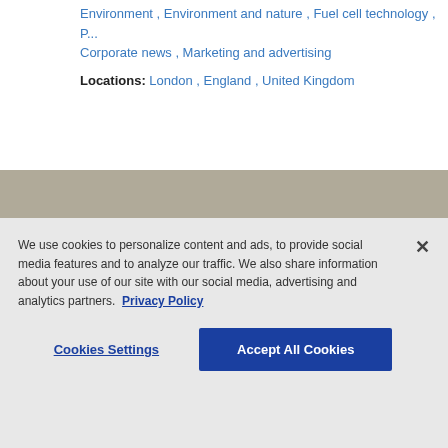Environment , Environment and nature , Fuel cell technology , P... Corporate news , Marketing and advertising
Locations: London , England , United Kingdom
AP ARCHIVE | About Us | Our Content
ASSOCIATED PRESS | About AP | AP Leadership
We use cookies to personalize content and ads, to provide social media features and to analyze our traffic. We also share information about your use of our site with our social media, advertising and analytics partners. Privacy Policy
Cookies Settings | Accept All Cookies